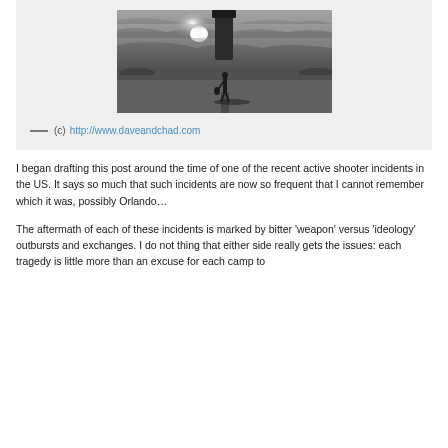[Figure (photo): Black and white dramatic photo of a silhouetted figure standing on a flat desert or dry lake bed beneath a large dark pillar or structure, with bright sun and dramatic clouds in the sky]
— (c) http://www.daveandchad.com
I began drafting this post around the time of one of the recent active shooter incidents in the US. It says so much that such incidents are now so frequent that I cannot remember which it was, possibly Orlando…
The aftermath of each of these incidents is marked by bitter 'weapon' versus 'ideology' outbursts and exchanges. I do not thing that either side really gets the issues: each tragedy is little more than an excuse for each camp to